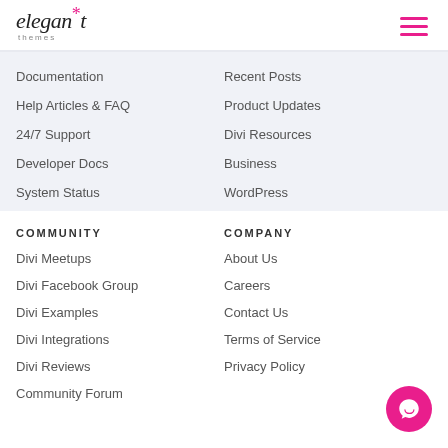[Figure (logo): Elegant Themes logo with pink asterisk above the letter 'a' in elegant, italic serif font, with 'themes' in small caps below]
Documentation
Help Articles & FAQ
24/7 Support
Developer Docs
System Status
Recent Posts
Product Updates
Divi Resources
Business
WordPress
COMMUNITY
COMPANY
Divi Meetups
Divi Facebook Group
Divi Examples
Divi Integrations
Divi Reviews
Community Forum
About Us
Careers
Contact Us
Terms of Service
Privacy Policy